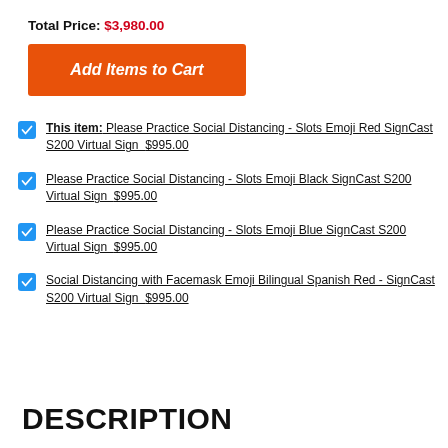Total Price: $3,980.00
[Figure (other): Orange 'Add Items to Cart' button]
This item: Please Practice Social Distancing - Slots Emoji Red SignCast S200 Virtual Sign  $995.00
Please Practice Social Distancing - Slots Emoji Black SignCast S200 Virtual Sign  $995.00
Please Practice Social Distancing - Slots Emoji Blue SignCast S200 Virtual Sign  $995.00
Social Distancing with Facemask Emoji Bilingual Spanish Red - SignCast S200 Virtual Sign  $995.00
DESCRIPTION